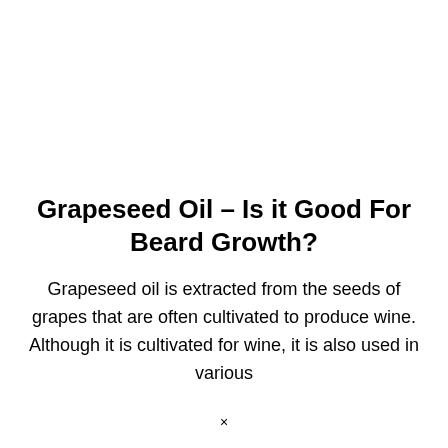Grapeseed Oil – Is it Good For Beard Growth?
Grapeseed oil is extracted from the seeds of grapes that are often cultivated to produce wine. Although it is cultivated for wine, it is also used in various